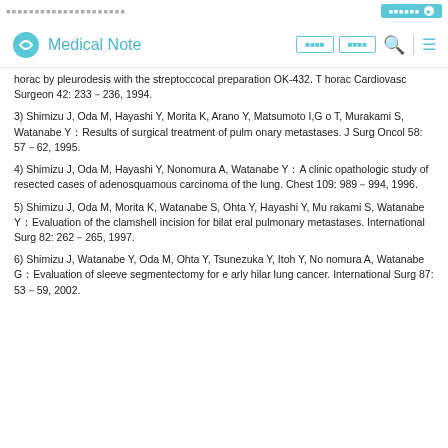Medical Note
horac by pleurodesis with the streptoccocal preparation OK-432. Thorac Cardiovasc Surgeon 42: 233–236, 1994.
3) Shimizu J, Oda M, Hayashi Y, Morita K, Arano Y, Matsumoto I,Go T, Murakami S, Watanabe Y：Results of surgical treatment of pulmonary metastases. J Surg Oncol 58: 57–62, 1995.
4) Shimizu J, Oda M, Hayashi Y, Nonomura A, Watanabe Y：A clinicopathologic study of resected cases of adenosquamous carcinoma of the lung. Chest 109: 989–994, 1996.
5) Shimizu J, Oda M, Morita K, Watanabe S, Ohta Y, Hayashi Y, Murakami S, Watanabe Y：Evaluation of the clamshell incision for bilateral pulmonary metastases. International Surg 82: 262–265, 1997.
6) Shimizu J, Watanabe Y, Oda M, Ohta Y, Tsunezuka Y, Itoh Y, Nonomura A, Watanabe G：Evaluation of sleeve segmentectomy for early hilar lung cancer. International Surg 87: 53–59, 2002.